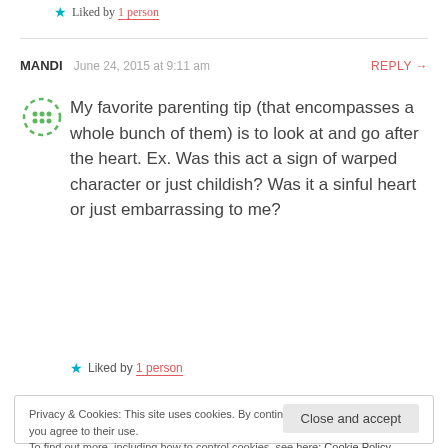★ Liked by 1 person
MANDI   June 24, 2015 at 9:11 am   REPLY →
[Figure (illustration): Green dashed circle avatar placeholder icon]
My favorite parenting tip (that encompasses a whole bunch of them) is to look at and go after the heart. Ex. Was this act a sign of warped character or just childish? Was it a sinful heart or just embarrassing to me?
★ Liked by 1 person
Privacy & Cookies: This site uses cookies. By continuing to use this website, you agree to their use. To find out more, including how to control cookies, see here: Cookie Policy
Close and accept